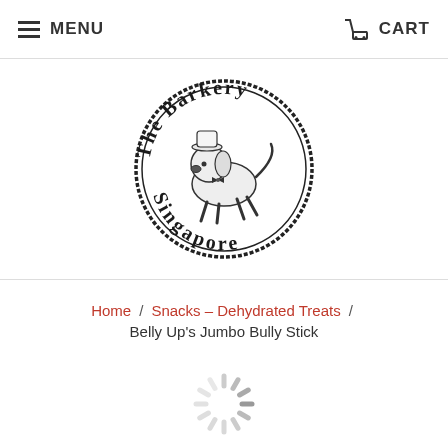MENU  CART
[Figure (logo): The Barkery Singapore circular logo with a cartoon dog wearing a chef's hat, stamp style illustration]
Home / Snacks – Dehydrated Treats / Belly Up's Jumbo Bully Stick
[Figure (other): Loading spinner graphic]